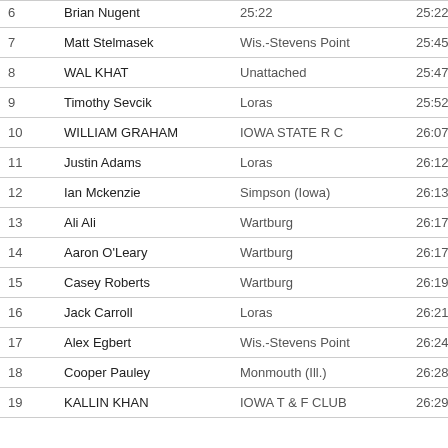| Place | Name | School | Time | Score |
| --- | --- | --- | --- | --- |
| 6 | Brian Nugent | 25:22 | 25:22.1 | 6 |
| 7 | Matt Stelmasek | Wis.-Stevens Point | 25:45.8 | 7 |
| 8 | WAL KHAT | Unattached | 25:47.0 |  |
| 9 | Timothy Sevcik | Loras | 25:52.0 | 8 |
| 10 | WILLIAM GRAHAM | IOWA STATE R C | 26:07.1 | 9 |
| 11 | Justin Adams | Loras | 26:12.7 | 10 |
| 12 | Ian Mckenzie | Simpson (Iowa) | 26:13.6 | 11 |
| 13 | Ali Ali | Wartburg | 26:17.2 | 12 |
| 14 | Aaron O'Leary | Wartburg | 26:17.8 | 13 |
| 15 | Casey Roberts | Wartburg | 26:19.2 | 14 |
| 16 | Jack Carroll | Loras | 26:21.1 | 15 |
| 17 | Alex Egbert | Wis.-Stevens Point | 26:24.3 | 16 |
| 18 | Cooper Pauley | Monmouth (Ill.) | 26:28.4 | 17 |
| 19 | KALLIN KHAN | IOWA T & F CLUB | 26:29.7 | 18 |